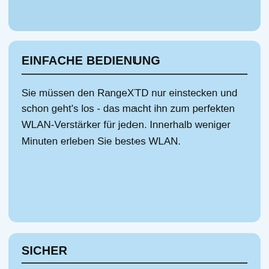[Figure (other): Top blue card/panel partially visible at top of page]
EINFACHE BEDIENUNG
Sie müssen den RangeXTD nur einstecken und schon geht's los - das macht ihn zum perfekten WLAN-Verstärker für jeden. Innerhalb weniger Minuten erleben Sie bestes WLAN.
SICHER